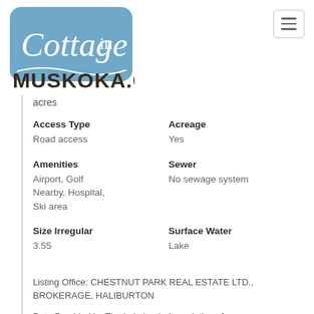[Figure (logo): Cottage in Muskoka.ca logo with blue rounded rectangle background and stylized text]
acres
Access Type
Road access
Acreage
Yes
Amenities
Airport, Golf Nearby, Hospital, Ski area
Sewer
No sewage system
Size Irregular
3.55
Surface Water
Lake
Listing Office: CHESTNUT PARK REAL ESTATE LTD., BROKERAGE, HALIBURTON
Data Provided by The Lakelands Association of